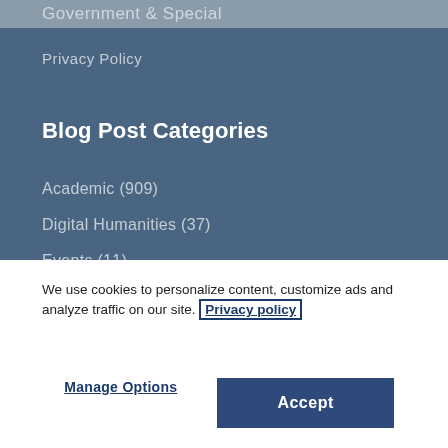Government & Special
Privacy Policy
Blog Post Categories
Academic (909)
Digital Humanities (37)
Events (11)
Featured (1,251)
Public (1,367)
We use cookies to personalize content, customize ads and analyze traffic on our site. Privacy policy
Manage Options
Accept